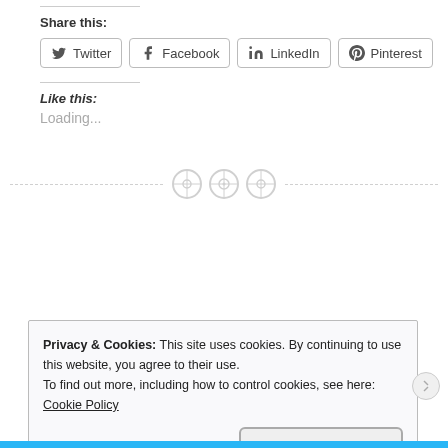Share this:
[Figure (screenshot): Social share buttons: Twitter, Facebook, LinkedIn, Pinterest]
Like this:
Loading...
[Figure (illustration): Three circular button/sewing icons along a dashed horizontal divider line]
Privacy & Cookies: This site uses cookies. By continuing to use this website, you agree to their use. To find out more, including how to control cookies, see here: Cookie Policy
Close and accept